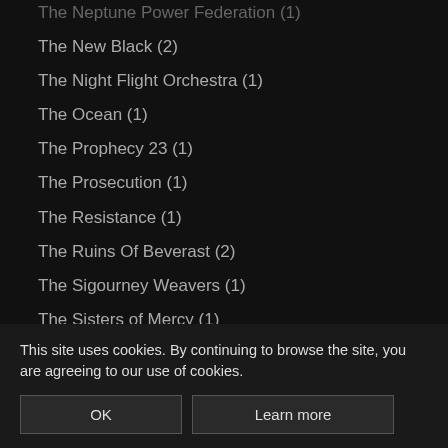The Neptune Power Federation (1)
The New Black (2)
The Night Flight Orchestra (1)
The Ocean (1)
The Prophecy 23 (1)
The Prosecution (1)
The Resistance (1)
The Ruins Of Beverast (2)
The Sigourney Weavers (1)
The Sisters of Mercy (1)
The Sounds (1)
The Spirit (1)
The Unguided (1)
The Very End (1)
The Vintage (...)
The Vision Ble... (...)
The Wizards (1)
This site uses cookies. By continuing to browse the site, you are agreeing to our use of cookies.